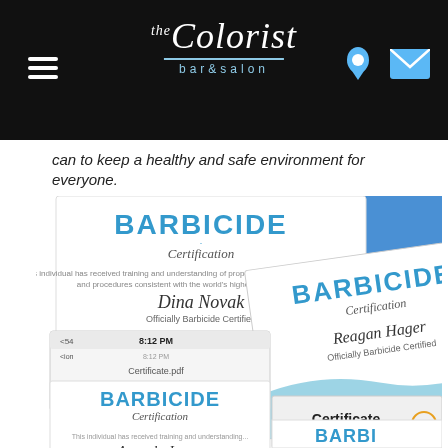the Colorist bar&salon
can to keep a healthy and safe environment for everyone.
[Figure (photo): Collage of Barbicide Certification certificates for Dina Novak, Reagan Hager, and Amanda James, shown as screenshots and physical certificates with blue wave design and BARBICIDE branding.]